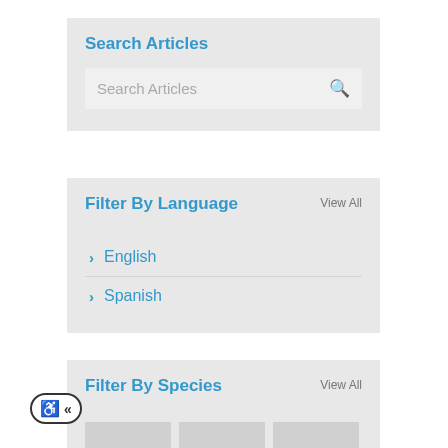Search Articles
Search Articles (search box placeholder)
Filter By Language
View All
English
Spanish
Filter By Species
View All
[Figure (screenshot): Three species thumbnail image placeholders at the bottom of the page]